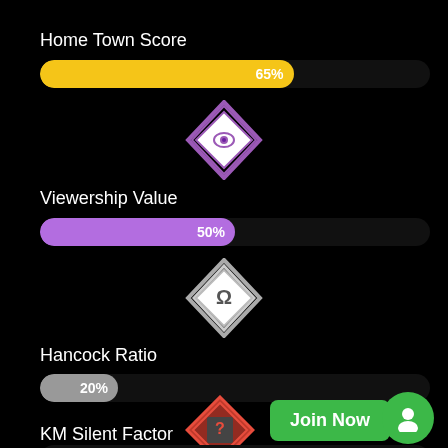Home Town Score
[Figure (bar-chart): Home Town Score]
[Figure (other): Purple diamond icon with eye symbol]
Viewership Value
[Figure (bar-chart): Viewership Value]
[Figure (other): Gray/white diamond icon with omega symbol]
Hancock Ratio
[Figure (bar-chart): Hancock Ratio]
[Figure (other): Red/dark diamond icon with question mark]
Join Now
KM Silent Factor